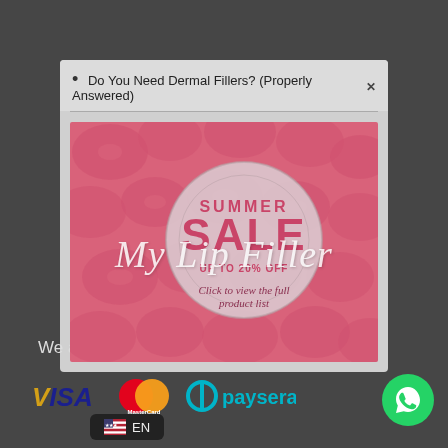Do You Need Dermal Fillers? (Properly Answered)
[Figure (illustration): Summer Sale advertisement banner with tropical monstera leaf pattern in pink/red, featuring a circular badge saying SUMMER SALE UP TO 20% OFF and text Click to view the full product list]
My Lip Filler
We accept:
[Figure (logo): Visa logo in blue and gold]
[Figure (logo): MasterCard logo with red and orange overlapping circles]
[Figure (logo): Paysera logo in teal/cyan]
[Figure (logo): WhatsApp logo green circle with white phone handset icon]
EN